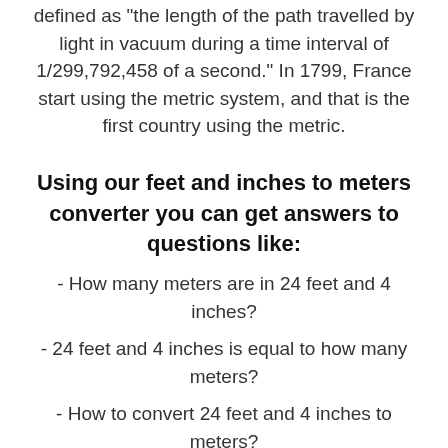defined as "the length of the path travelled by light in vacuum during a time interval of 1/299,792,458 of a second." In 1799, France start using the metric system, and that is the first country using the metric.
Using our feet and inches to meters converter you can get answers to questions like:
- How many meters are in 24 feet and 4 inches?
- 24 feet and 4 inches is equal to how many meters?
- How to convert 24 feet and 4 inches to meters?
- What is 24 feet and 4 inches in meters?